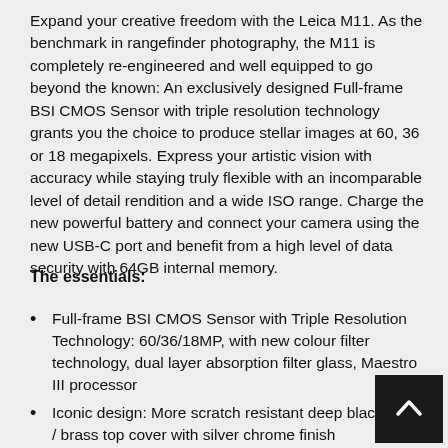Expand your creative freedom with the Leica M11. As the benchmark in rangefinder photography, the M11 is completely re-engineered and well equipped to go beyond the known: An exclusively designed Full-frame BSI CMOS Sensor with triple resolution technology grants you the choice to produce stellar images at 60, 36 or 18 megapixels. Express your artistic vision with accuracy while staying truly flexible with an incomparable level of detail rendition and a wide ISO range. Charge the new powerful battery and connect your camera using the new USB-C port and benefit from a high level of data security with 64GB internal memory.
The essentials:
Full-frame BSI CMOS Sensor with Triple Resolution Technology: 60/36/18MP, with new colour filter technology, dual layer absorption filter glass, Maestro III processor
Iconic design: More scratch resistant deep black finish / brass top cover with silver chrome finish